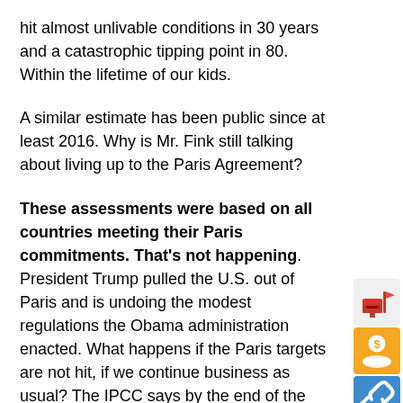hit almost unlivable conditions in 30 years and a catastrophic tipping point in 80. Within the lifetime of our kids.
A similar estimate has been public since at least 2016. Why is Mr. Fink still talking about living up to the Paris Agreement?
These assessments were based on all countries meeting their Paris commitments. That's not happening. President Trump pulled the U.S. out of Paris and is undoing the modest regulations the Obama administration enacted. What happens if the Paris targets are not hit, if we continue business as usual? The IPCC says by the end of the century warming hits 4.8 degrees. The Independent reported
[Figure (other): Social sharing sidebar with icons: red mailbox/post icon, yellow hand with coins icon, blue chain/link icon, blue envelope icon, red Gmail icon, blue Facebook icon]